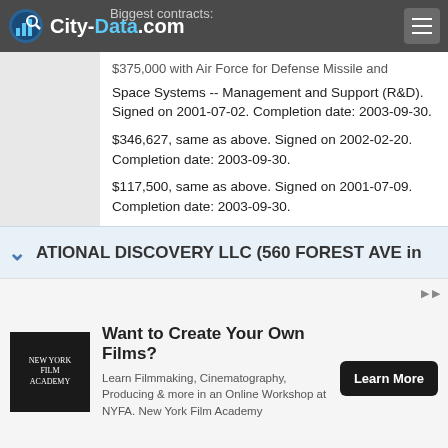City-Data.com
Biggest contracts:
$375,000 with Air Force for Defense Missile and Space Systems -- Management and Support (R&D). Signed on 2001-07-02. Completion date: 2003-09-30.
$346,627, same as above. Signed on 2002-02-20. Completion date: 2003-09-30.
$117,500, same as above. Signed on 2001-07-09. Completion date: 2003-09-30.
$99,951 with Missile Defense Agency for Defense Missile and Space Systems -- Basic Research (R&D). Signed on 2004-06-15. Completion date: 2004-12-15.
ATIONAL DISCOVERY LLC (560 FOREST AVE in
Want to Create Your Own Films? Learn Filmmaking, Cinematography, Producing & more in an Online Workshop at NYFA. New York Film Academy